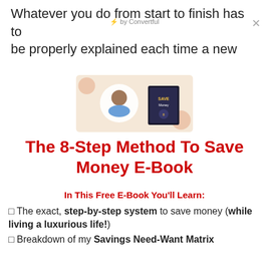Whatever you do from start to finish has to be properly explained each time a new
by Convertful
[Figure (illustration): Promotional banner showing a person and a book cover for The 8-Step Method To Save Money E-Book]
The 8-Step Method To Save Money E-Book
In This Free E-Book You'll Learn:
✦ The exact, step-by-step system to save money (while living a luxurious life!)
✦ Breakdown of my Savings Need-Want Matrix
✦ How to create a quick monthly budget (my free budget template included)
✦ Simple Steps to build an emergency fund, a